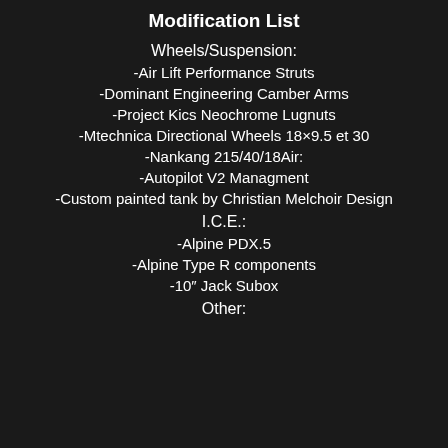Modification List
Wheels/Suspension:
-Air Lift Performance Struts
-Dominant Engineering Camber Arms
-Project Kics Neochrome Lugnuts
-Mtechnica Directional Wheels 18×9.5 et 30
-Nankang 215/40/18Air:
-Autopilot V2 Managment
-Custom painted tank by Christian Melchoir Design
I.C.E.:
-Alpine PDX.5
-Alpine Type R components
-10″ Jack Subox
Other: